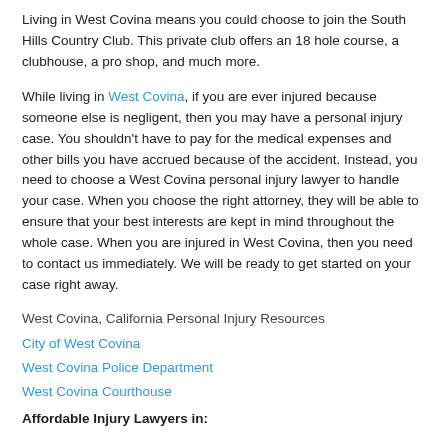Living in West Covina means you could choose to join the South Hills Country Club. This private club offers an 18 hole course, a clubhouse, a pro shop, and much more.
While living in West Covina, if you are ever injured because someone else is negligent, then you may have a personal injury case. You shouldn't have to pay for the medical expenses and other bills you have accrued because of the accident. Instead, you need to choose a West Covina personal injury lawyer to handle your case. When you choose the right attorney, they will be able to ensure that your best interests are kept in mind throughout the whole case. When you are injured in West Covina, then you need to contact us immediately. We will be ready to get started on your case right away.
West Covina, California Personal Injury Resources
City of West Covina
West Covina Police Department
West Covina Courthouse
Affordable Injury Lawyers in: